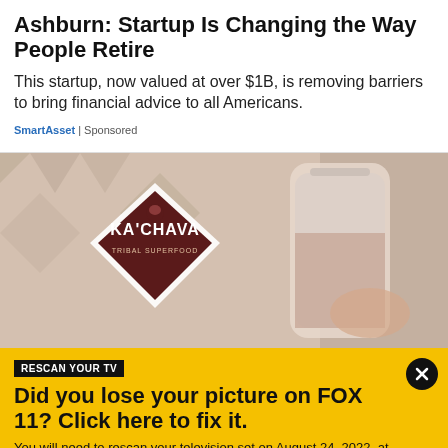Ashburn: Startup Is Changing the Way People Retire
This startup, now valued at over $1B, is removing barriers to bring financial advice to all Americans.
SmartAsset | Sponsored
[Figure (photo): Ka'Chava Tribal Superfood bag with a shake being poured into a cup]
RESCAN YOUR TV
Did you lose your picture on FOX 11? Click here to fix it.
You will need to rescan your television set on August 24, 2022, at 1:00 p.m. PT in order to continue receiving our broadcast. Tap for details on how to rescan your TV.